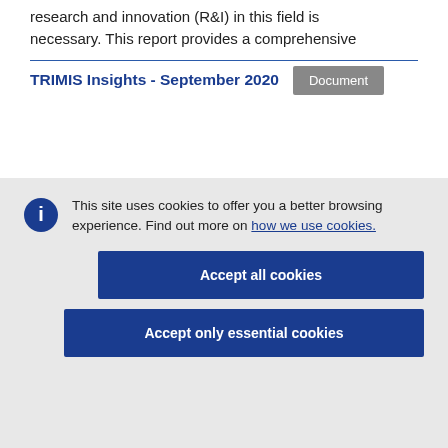research and innovation (R&I) in this field is necessary. This report provides a comprehensive
TRIMIS Insights - September 2020
Document
This site uses cookies to offer you a better browsing experience. Find out more on how we use cookies.
Accept all cookies
Accept only essential cookies